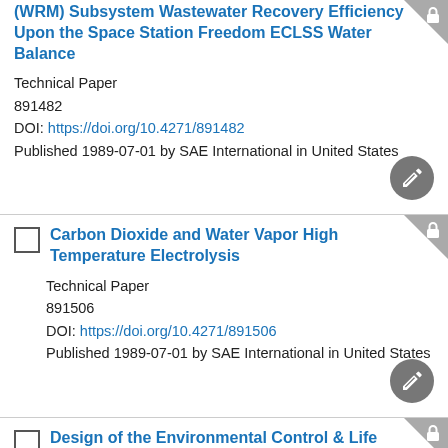(WRM) Subsystem Wastewater Recovery Efficiency Upon the Space Station Freedom ECLSS Water Balance
Technical Paper
891482
DOI: https://doi.org/10.4271/891482
Published 1989-07-01 by SAE International in United States
Carbon Dioxide and Water Vapor High Temperature Electrolysis
Technical Paper
891506
DOI: https://doi.org/10.4271/891506
Published 1989-07-01 by SAE International in United States
Design of the Environmental Control & Life Support System for the Columbus Pressurized Module